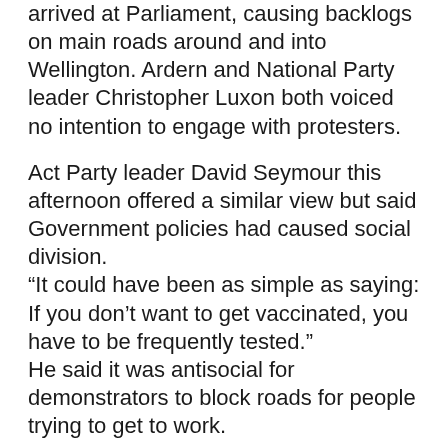arrived at Parliament, causing backlogs on main roads around and into Wellington. Ardern and National Party leader Christopher Luxon both voiced no intention to engage with protesters.
Act Party leader David Seymour this afternoon offered a similar view but said Government policies had caused social division. “It could have been as simple as saying: If you don’t want to get vaccinated, you have to be frequently tested.” He said it was antisocial for demonstrators to block roads for people trying to get to work.